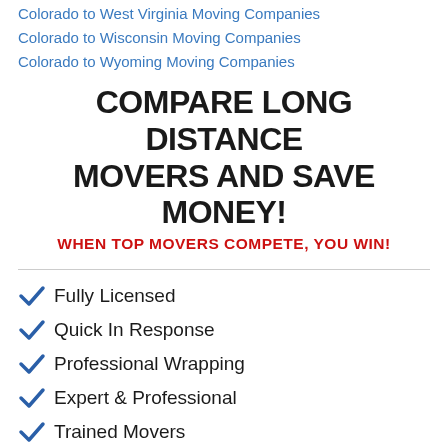Colorado to West Virginia Moving Companies
Colorado to Wisconsin Moving Companies
Colorado to Wyoming Moving Companies
COMPARE LONG DISTANCE MOVERS AND SAVE MONEY!
WHEN TOP MOVERS COMPETE, YOU WIN!
Fully Licensed
Quick In Response
Professional Wrapping
Expert & Professional
Trained Movers